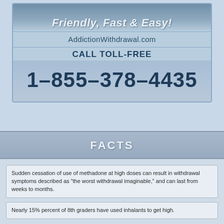[Figure (infographic): Advertisement banner for AddictionWithdrawal.com showing 'Friendly, Fast & Easy!' at top, website URL, CALL TOLL-FREE text, and phone number 1-855-378-4435]
FACTS
Sudden cessation of use of methadone at high doses can result in withdrawal symptoms described as "the worst withdrawal imaginable," and can last from weeks to months.
Nearly 15% percent of 8th graders have used inhalants to get high.